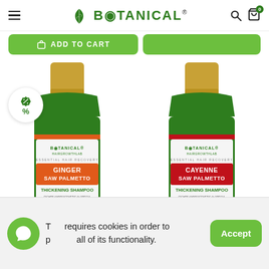BOTANICAL® — navigation header with hamburger menu, logo, search and cart icons
[Figure (screenshot): Green ADD TO CART button and a second green button on the right]
[Figure (photo): Two Botanical Hair Growth Lab shampoo bottles side by side. Left: Ginger Saw Palmetto Thickening Shampoo with a discount badge. Right: Cayenne Saw Palmetto Thickening Shampoo. Both bottles are green with gold caps and have an orange/red label reading ESSENTIAL HAIR RECOVERY. Text below reads: FIGHTS ANDROGENETIC ALOPECIA, IMPROVES THINNING HAIR & DHT.]
This requires cookies in order to provide all of its functionality.
Accept